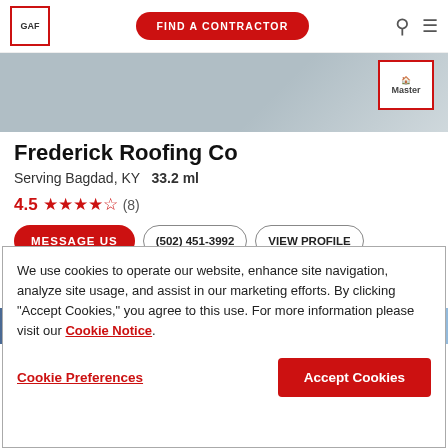GAF | FIND A CONTRACTOR
[Figure (photo): Roofing material close-up image with Master Elite badge in top right corner]
Frederick Roofing Co
Serving Bagdad, KY  33.2 ml
4.5 ★★★★½ (8)
MESSAGE US | (502) 451-3992 | VIEW PROFILE
[Figure (photo): Partial blue roofing image strip]
We use cookies to operate our website, enhance site navigation, analyze site usage, and assist in our marketing efforts. By clicking "Accept Cookies," you agree to this use. For more information please visit our Cookie Notice.
Cookie Preferences | Accept Cookies